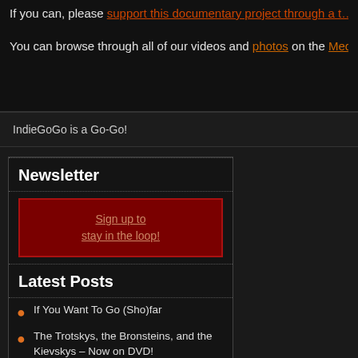If you can, please support this documentary project through a … You can browse through all of our videos and photos on the Media pa…
IndieGoGo is a Go-Go!
Newsletter
Sign up to stay in the loop!
Latest Posts
If You Want To Go (Sho)far
The Trotskys, the Bronsteins, and the Kievskys – Now on DVD!
Dennis Prager